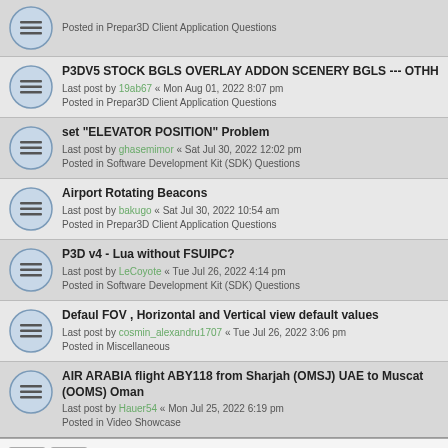Posted in Prepar3D Client Application Questions
P3DV5 STOCK BGLS OVERLAY ADDON SCENERY BGLS --- OTHH
Last post by 19ab67 « Mon Aug 01, 2022 8:07 pm
Posted in Prepar3D Client Application Questions
set "ELEVATOR POSITION" Problem
Last post by ghasemimor « Sat Jul 30, 2022 12:02 pm
Posted in Software Development Kit (SDK) Questions
Airport Rotating Beacons
Last post by bakugo « Sat Jul 30, 2022 10:54 am
Posted in Prepar3D Client Application Questions
P3D v4 - Lua without FSUIPC?
Last post by LeCoyote « Tue Jul 26, 2022 4:14 pm
Posted in Software Development Kit (SDK) Questions
Defaul FOV , Horizontal and Vertical view default values
Last post by cosmin_alexandru1707 « Tue Jul 26, 2022 3:06 pm
Posted in Miscellaneous
AIR ARABIA flight ABY118 from Sharjah (OMSJ) UAE to Muscat (OOMS) Oman
Last post by Hauer54 « Mon Jul 25, 2022 6:19 pm
Posted in Video Showcase
Search found more than 1000 matches